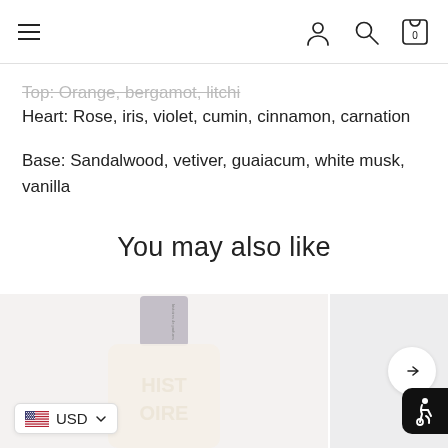Navigation bar with hamburger menu, user icon, search icon, and cart icon (0 items)
Top: Orange, bergamot, litchi
Heart: Rose, iris, violet, cumin, cinnamon, carnation
Base: Sandalwood, vetiver, guaiacum, white musk, vanilla
You may also like
[Figure (photo): Perfume bottle product card (Histoires de Parfums) on light pink/grey background, partially cropped]
[Figure (photo): Second product card partially visible, with right-arrow navigation circle]
USD
[Figure (other): Accessibility icon (wheelchair/person symbol) in black rounded square]